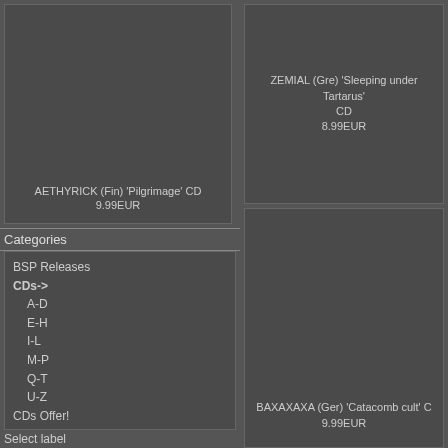[Figure (other): Product image placeholder for AETHYRICK (Fin) 'Pilgrimage' CD]
AETHYRICK (Fin) 'Pilgrimage' CD
9.99EUR
Categories
BSP Releases
CDs->
A-D
E-H
I-L
M-P
Q-T
U-Z
CDs Offer!
Vinyls
Vinyl offer!
Demos
Various (Zines,Shirts...)
Rare / 2nd hand->
Select label
[Figure (other): Product image placeholder for ZEMIAL (Gre) 'Sleeping under Tartarus' CD]
ZEMIAL (Gre) 'Sleeping under Tartarus'
CD
8.99EUR
[Figure (other): Product image placeholder for BAXAXAXA (Ger) 'Catacomb cult' CD]
BAXAXAXA (Ger) 'Catacomb cult' C
9.99EUR